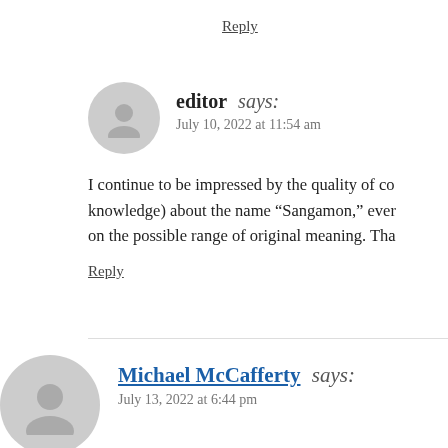Reply
editor says:
July 10, 2022 at 11:54 am
I continue to be impressed by the quality of co knowledge) about the name “Sangamon,” ever on the possible range of original meaning. Tha
Reply
Michael McCafferty says:
July 13, 2022 at 6:44 pm
Sangamon remains unanalyzable. We really need other (which is found in other primary source documents). O spellings or even early English-speaking American spe help. Sam’s initial comment is curious as I have only d one or two other people, so how did he come up with th